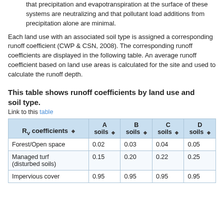that precipitation and evapotranspiration at the surface of these systems are neutralizing and that pollutant load additions from precipitation alone are minimal.
Each land use with an associated soil type is assigned a corresponding runoff coefficient (CWP & CSN, 2008). The corresponding runoff coefficients are displayed in the following table. An average runoff coefficient based on land use areas is calculated for the site and used to calculate the runoff depth.
This table shows runoff coefficients by land use and soil type.
Link to this table
| Rv coefficients | A soils | B soils | C soils | D soils |
| --- | --- | --- | --- | --- |
| Forest/Open space | 0.02 | 0.03 | 0.04 | 0.05 |
| Managed turf (disturbed soils) | 0.15 | 0.20 | 0.22 | 0.25 |
| Impervious cover | 0.95 | 0.95 | 0.95 | 0.95 |